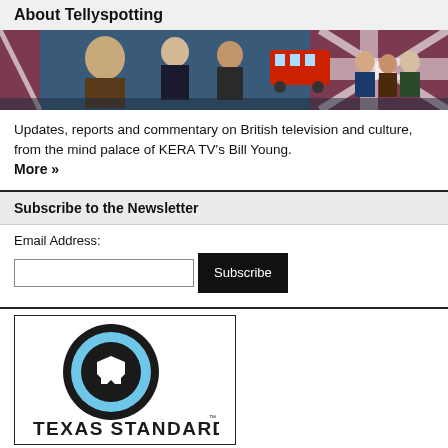About Tellyspotting
[Figure (photo): Banner image showing British TV characters and cultural icons with a Union Jack flag background]
Updates, reports and commentary on British television and culture, from the mind palace of KERA TV's Bill Young. More »
Subscribe to the Newsletter
Email Address:
[Figure (logo): Texas Standard logo with circular Texas state icon and bold text 'TEXAS STANDARD']